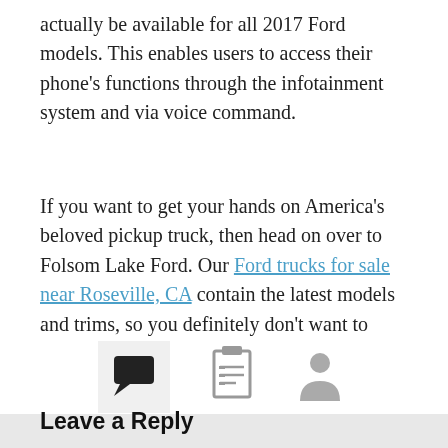actually be available for all 2017 Ford models. This enables users to access their phone's functions through the infotainment system and via voice command.
If you want to get your hands on America's beloved pickup truck, then head on over to Folsom Lake Ford. Our Ford trucks for sale near Roseville, CA contain the latest models and trims, so you definitely don't want to miss out!
[Figure (other): Icon bar with three icons: a speech bubble (comment icon) in a highlighted tab box, a clipboard/list icon, and a person/user icon]
Leave a Reply